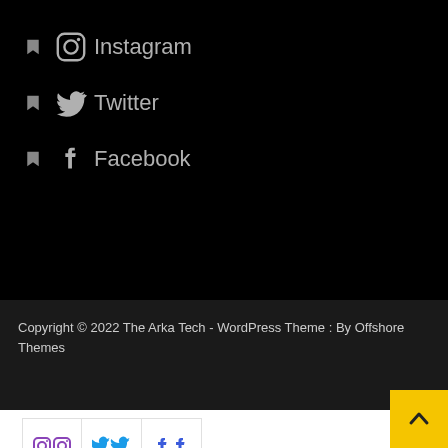Instagram
Twitter
Facebook
Copyright © 2022 The Arka Tech - WordPress Theme : By Offshore Themes
[Figure (logo): Row of social media icon buttons (Instagram, Twitter, Facebook) in outlined boxes on white background, plus a yellow scroll-to-top button]